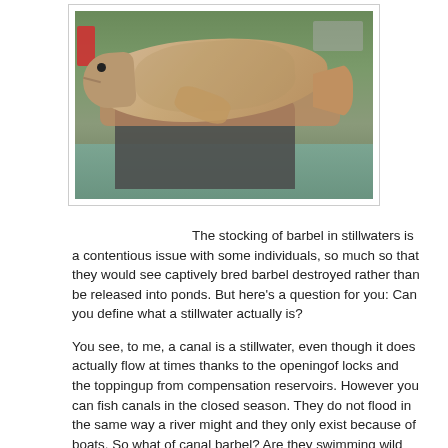[Figure (photo): A person holding a large barbel fish, photographed outdoors near a canal with boats and green foliage in the background.]
The stocking of barbel in stillwaters is a contentious issue with some individuals, so much so that they would see captively bred barbel destroyed rather than be released into ponds. But here's a question for you: Can you define what a stillwater actually is?

You see, to me, a canal is a stillwater, even though it does actually flow at times thanks to the openingof locks and the toppingup from compensation reservoirs. However you can fish canals in the closed season. They do not flood in the same way a river might and they only exist because of boats. So what of canal barbel? Are they swimming wild and free or are they stillwater fish?